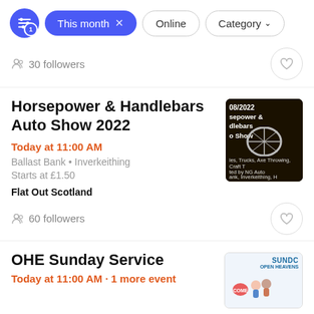[Figure (screenshot): Filter bar with active 'This month' pill, 'Online' and 'Category' filter options, and a filter icon with badge '1']
30 followers
Horsepower & Handlebars Auto Show 2022
Today at 11:00 AM
Ballast Bank • Inverkeithing
Starts at £1.50
Flat Out Scotland
60 followers
[Figure (photo): Event thumbnail for Horsepower & Handlebars Auto Show 2022, dark background with motorcycle wheel graphic and text '08/2022 Horsepower & Handlebars Auto Show. Motorcycles, Trucks, Axe Throwing, Craft Beers. Hosted by NG Auto, Ballast Bank, Inverkeithing']
OHE Sunday Service
Today at 11:00 AM · 1 more event
[Figure (photo): Event thumbnail for OHE Sunday Service with SUNDC / OPEN HEAVENS text and group of people]